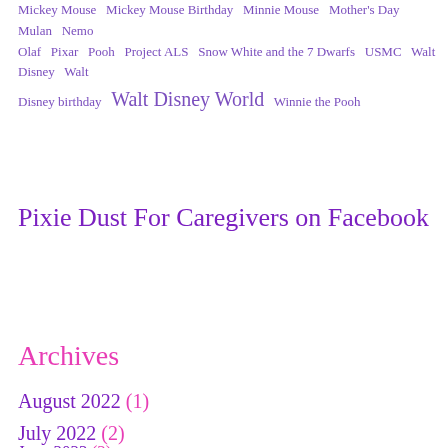Mickey Mouse  Mickey Mouse Birthday  Minnie Mouse  Mother's Day  Mulan  Nemo  Olaf  Pixar  Pooh  Project ALS  Snow White and the 7 Dwarfs  USMC  Walt Disney  Walt Disney birthday  Walt Disney World  Winnie the Pooh
Pixie Dust For Caregivers on Facebook
Archives
August 2022 (1)
July 2022 (2)
June 2022 (2)